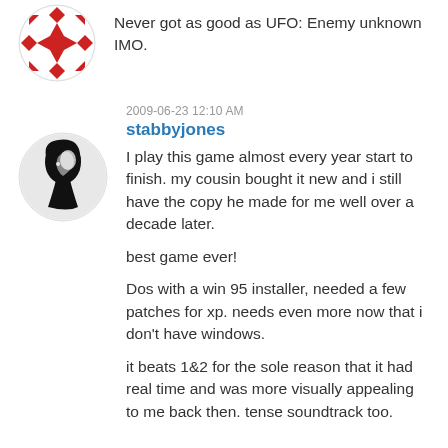[Figure (illustration): Red and white geometric/floral pattern avatar in a circle]
Never got as good as UFO: Enemy unknown IMO.
2009-06-23 12:10 AM
stabbyjones
I play this game almost every year start to finish. my cousin bought it new and i still have the copy he made for me well over a decade later.

best game ever!

Dos with a win 95 installer, needed a few patches for xp. needs even more now that i don't have windows.

it beats 1&2 for the sole reason that it had real time and was more visually appealing to me back then. tense soundtrack too.